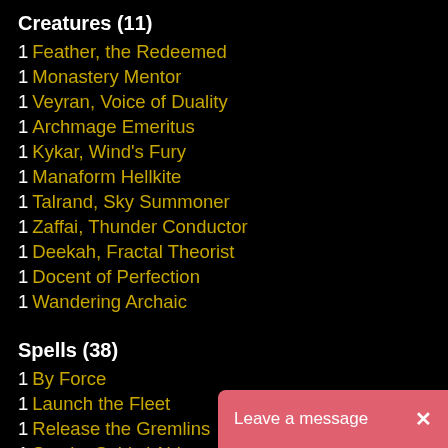Creatures (11)
1 Feather, the Redeemed
1 Monastery Mentor
1 Veyran, Voice of Duality
1 Archmage Emeritus
1 Kykar, Wind's Fury
1 Manaform Hellkite
1 Talrand, Sky Summoner
1 Zaffai, Thunder Conductor
1 Deekah, Fractal Theorist
1 Docent of Perfection
1 Wandering Archaic
Spells (38)
1 By Force
1 Launch the Fleet
1 Release the Gremlins
1 Smoke Spirits' Aid
1 Winter's Chill  |
1 Apostle's Blessing
1 Aurelia's Fury